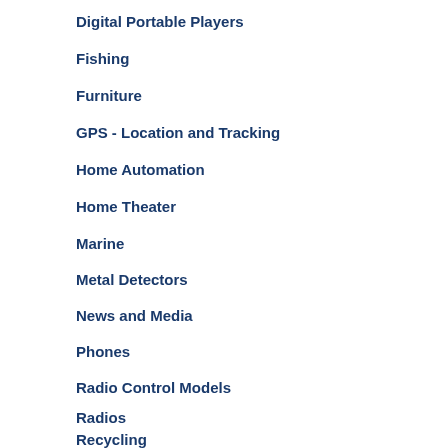Digital Portable Players
Fishing
Furniture
GPS - Location and Tracking
Home Automation
Home Theater
Marine
Metal Detectors
News and Media
Phones
Radio Control Models
Radios
Recycling